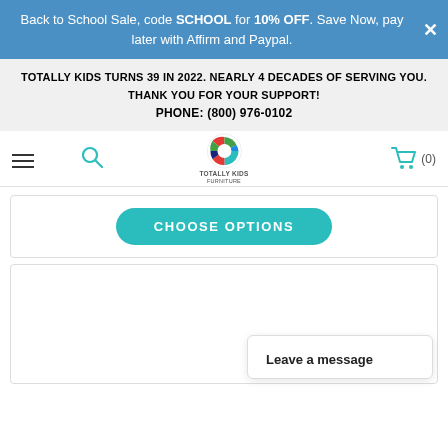Back to School Sale, code SCHOOL for 10% OFF. Save Now, pay later with Affirm and Paypal.
TOTALLY KIDS TURNS 39 IN 2022. NEARLY 4 DECADES OF SERVING YOU. THANK YOU FOR YOUR SUPPORT! PHONE: (800) 976-0102
[Figure (logo): Totally Kids furniture logo with colorful circular icon and text]
CHOOSE OPTIONS
Leave a message